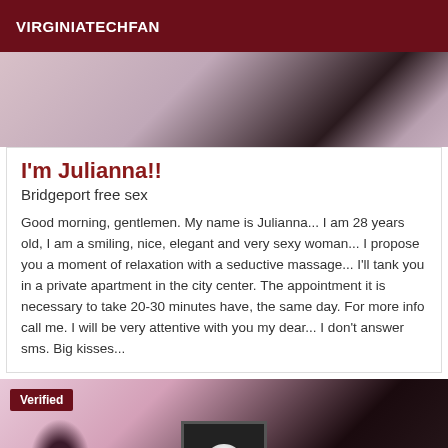VIRGINIATECHFAN
[Figure (photo): Top portion of a woman's torso in patterned clothing, partial view]
I'm Julianna!!
Bridgeport free sex
Good morning, gentlemen. My name is Julianna... I am 28 years old, I am a smiling, nice, elegant and very sexy woman... I propose you a moment of relaxation with a seductive massage... I'll tank you in a private apartment in the city center. The appointment it is necessary to take 20-30 minutes have, the same day. For more info call me. I will be very attentive with you my dear... I don't answer sms. Big kisses...
[Figure (photo): Photo with Verified badge, showing a room with pink background, dark plant, and a framed mirror/picture]